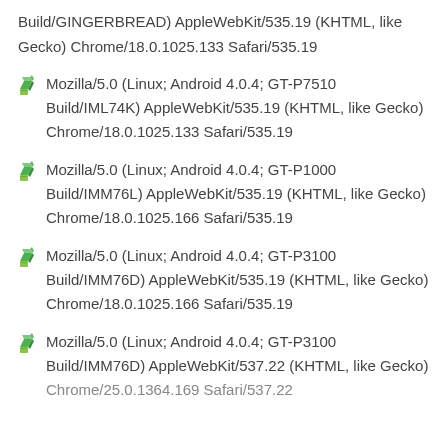Build/GINGERBREAD) AppleWebKit/535.19 (KHTML, like Gecko) Chrome/18.0.1025.133 Safari/535.19
Mozilla/5.0 (Linux; Android 4.0.4; GT-P7510 Build/IML74K) AppleWebKit/535.19 (KHTML, like Gecko) Chrome/18.0.1025.133 Safari/535.19
Mozilla/5.0 (Linux; Android 4.0.4; GT-P1000 Build/IMM76L) AppleWebKit/535.19 (KHTML, like Gecko) Chrome/18.0.1025.166 Safari/535.19
Mozilla/5.0 (Linux; Android 4.0.4; GT-P3100 Build/IMM76D) AppleWebKit/535.19 (KHTML, like Gecko) Chrome/18.0.1025.166 Safari/535.19
Mozilla/5.0 (Linux; Android 4.0.4; GT-P3100 Build/IMM76D) AppleWebKit/537.22 (KHTML, like Gecko) Chrome/25.0.1364.169 Safari/537.22